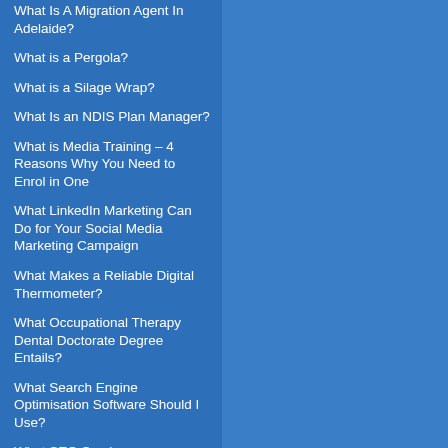What Is A Migration Agent In Adelaide?
What is a Pergola?
What is a Silage Wrap?
What Is an NDIS Plan Manager?
What is Media Training – 4 Reasons Why You Need to Enrol in One
What LinkedIn Marketing Can Do for Your Social Media Marketing Campaign
What Makes a Reliable Digital Thermometer?
What Occupational Therapy Dental Doctorate Degree Entails?
What Search Engine Optimisation Software Should I Use?
What SEO Services